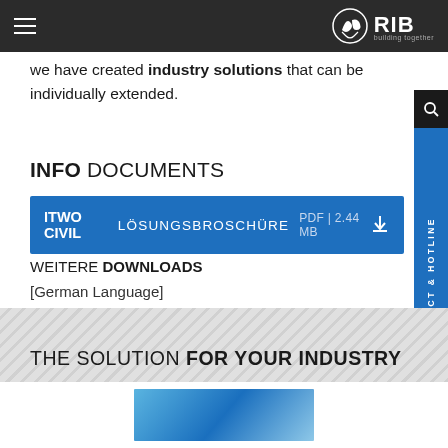[Figure (screenshot): RIB navigation bar with hamburger menu on left and RIB logo on right]
we have created industry solutions that can be individually extended.
INFO DOCUMENTS
ITWO CIVIL LÖSUNGSBROSCHÜRE  PDF | 2.44 MB  [download icon]
WEITERE DOWNLOADS
[German Language]
THE SOLUTION FOR YOUR INDUSTRY
[Figure (photo): Blue image at the bottom of the page]